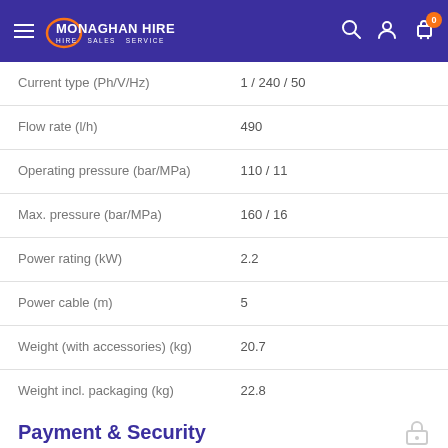Monaghan Hire - Hire Sales Service
| Specification | Value |
| --- | --- |
| Current type (Ph/V/Hz) | 1 / 240 / 50 |
| Flow rate (l/h) | 490 |
| Operating pressure (bar/MPa) | 110 / 11 |
| Max. pressure (bar/MPa) | 160 / 16 |
| Power rating (kW) | 2.2 |
| Power cable (m) | 5 |
| Weight (with accessories) (kg) | 20.7 |
| Weight incl. packaging (kg) | 22.8 |
| Dimensions (L x W x H) (mm) | 351 x 312 x 904 |
Payment & Security